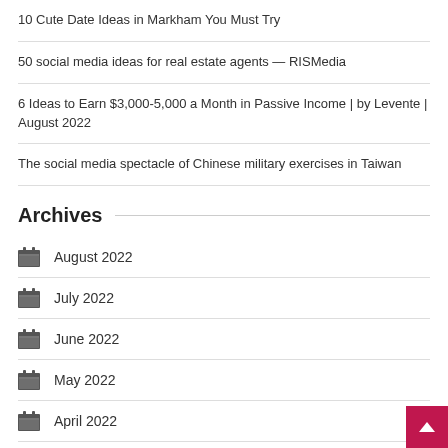10 Cute Date Ideas in Markham You Must Try
50 social media ideas for real estate agents — RISMedia
6 Ideas to Earn $3,000-5,000 a Month in Passive Income | by Levente | August 2022
The social media spectacle of Chinese military exercises in Taiwan
Archives
August 2022
July 2022
June 2022
May 2022
April 2022
March 2022